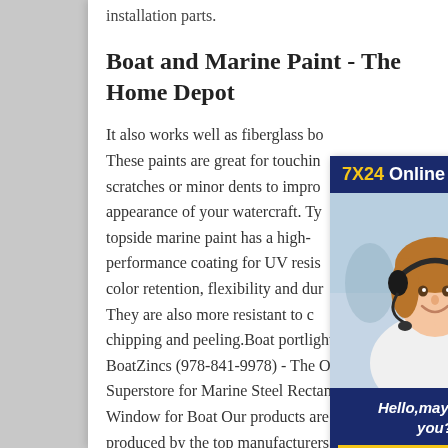installation parts.
Boat and Marine Paint - The Home Depot
It also works well as fiberglass bo... These paints are great for touchin... scratches or minor dents to impro... appearance of your watercraft. Ty... topside marine paint has a high-performance coating for UV resis... color retention, flexibility and dura... They are also more resistant to ch... chipping and peeling.Boat portlight BoatZincs (978-841-9978) - The Online Superstore for Marine Steel Rectangular Window for Boat Our products are produced by the top manufacturers in the U.S. market and are the same zincs sold
[Figure (infographic): Customer service advertisement widget with '7X24 Online' header in blue and gold, a photo of a woman with a headset, text 'Hello, may I help you?' and a yellow 'Get Latest Price' button on dark navy background.]